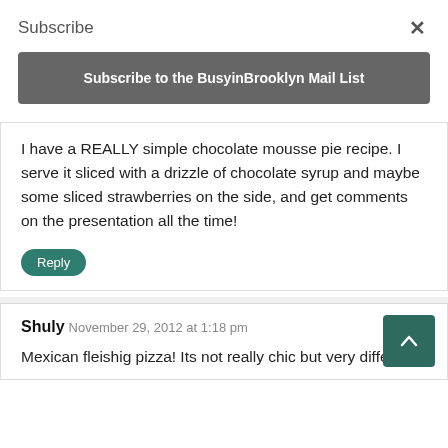Subscribe
Subscribe to the BusyinBrooklyn Mail List
I have a REALLY simple chocolate mousse pie recipe. I serve it sliced with a drizzle of chocolate syrup and maybe some sliced strawberries on the side, and get comments on the presentation all the time!
Reply
Shuly
November 29, 2012 at 1:18 pm
Mexican fleishig pizza! Its not really chic but very different